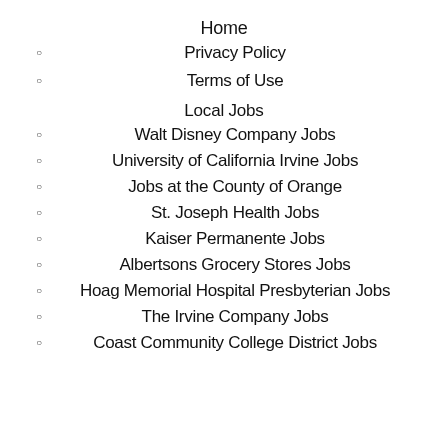Home
Privacy Policy
Terms of Use
Local Jobs
Walt Disney Company Jobs
University of California Irvine Jobs
Jobs at the County of Orange
St. Joseph Health Jobs
Kaiser Permanente Jobs
Albertsons Grocery Stores Jobs
Hoag Memorial Hospital Presbyterian Jobs
The Irvine Company Jobs
Coast Community College District Jobs